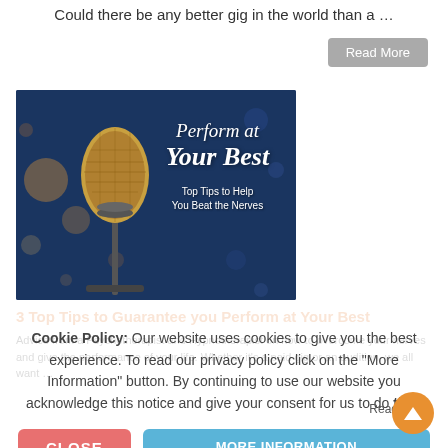Could there be any better gig in the world than a …
Read More
[Figure (illustration): Photo of a microphone against a blue bokeh background, with overlaid text: 'Perform at Your Best — Top Tips to Help You Beat the Nerves']
3 Top Tips to Guarantee you Perform at Your Best
Advice from a Psychotherapist and Hypnotherapist on how to overcome your nerves and give the performance of your life. Whether it's a paid gig or an audition, we all want …
Cookie Policy: Our website uses cookies to give you the best experience. To read our privacy policy click on the "More Information" button. By continuing to use our website you acknowledge this notice and give your consent for us to do this.
Read
CLOSE
MORE INFORMATION